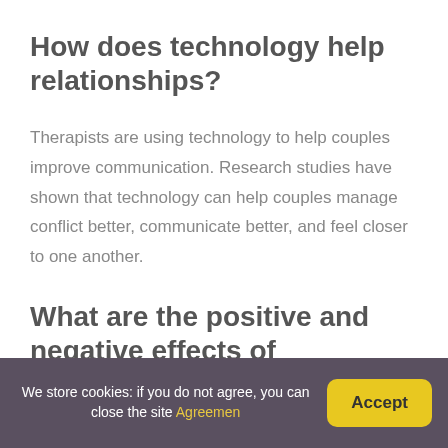How does technology help relationships?
Therapists are using technology to help couples improve communication. Research studies have shown that technology can help couples manage conflict better, communicate better, and feel closer to one another.
What are the positive and negative effects of technology in communication?
We store cookies: if you do not agree, you can close the site Agreemen
Accept